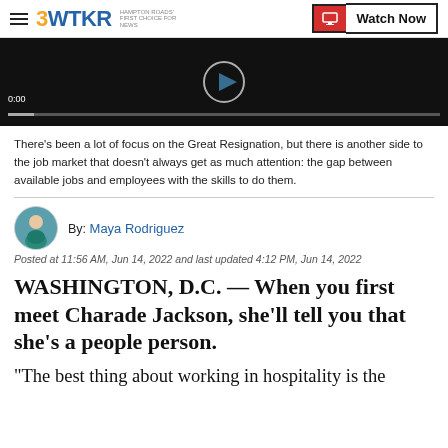3WTKR | Watch Now
[Figure (screenshot): Video player thumbnail showing black background with play controls, time 0:00, and progress bar]
There's been a lot of focus on the Great Resignation, but there is another side to the job market that doesn't always get as much attention: the gap between available jobs and employees with the skills to do them.
By: Maya Rodriguez
Posted at 11:56 AM, Jun 14, 2022 and last updated 4:12 PM, Jun 14, 2022
WASHINGTON, D.C. — When you first meet Charade Jackson, she'll tell you that she's a people person.
“The best thing about working in hospitality is the